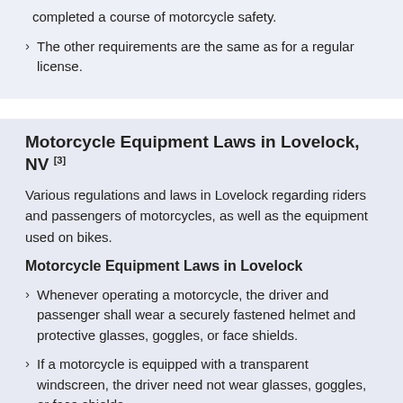completed a course of motorcycle safety.
The other requirements are the same as for a regular license.
Motorcycle Equipment Laws in Lovelock, NV [3]
Various regulations and laws in Lovelock regarding riders and passengers of motorcycles, as well as the equipment used on bikes.
Motorcycle Equipment Laws in Lovelock
Whenever operating a motorcycle, the driver and passenger shall wear a securely fastened helmet and protective glasses, goggles, or face shields.
If a motorcycle is equipped with a transparent windscreen, the driver need not wear glasses, goggles, or face shields.
Passengers shall ride behind the driver and astride the